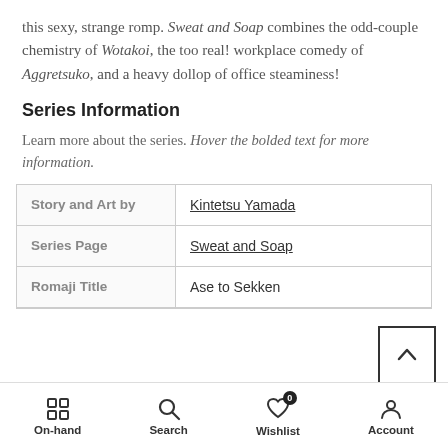this sexy, strange romp. Sweat and Soap combines the odd-couple chemistry of Wotakoi, the too real! workplace comedy of Aggretsuko, and a heavy dollop of office steaminess!
Series Information
Learn more about the series. Hover the bolded text for more information.
| Story and Art by | Kintetsu Yamada |
| Series Page | Sweat and Soap |
| Romaji Title | Ase to Sekken |
On-hand  Search  Wishlist  Account